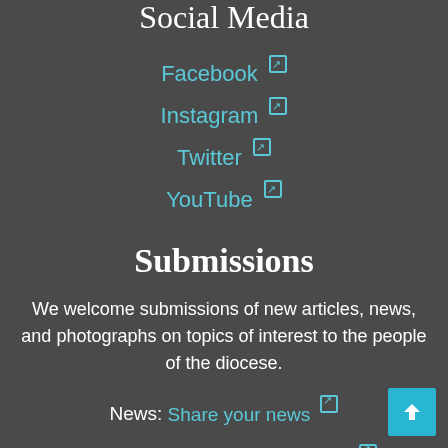Social Media
Facebook ↗
Instagram ↗
Twitter ↗
YouTube ↗
Submissions
We welcome submissions of new articles, news, and photographs on topics of interest to the people of the diocese.
News: Share your news ↗
Events: Tell us about your events ↗
Articles: Send us your articles ↗